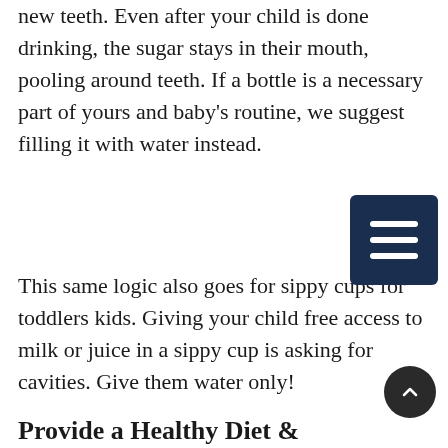new teeth. Even after your child is done drinking, the sugar stays in their mouth, pooling around teeth. If a bottle is a necessary part of yours and baby's routine, we suggest filling it with water instead.
This same logic also goes for sippy cups for toddlers kids. Giving your child free access to milk or juice in a sippy cup is asking for cavities. Give them water only!
Provide a Healthy Diet &